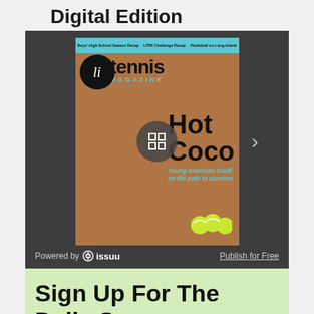Digital Edition
[Figure (screenshot): LI Tennis Magazine digital edition viewer showing cover with 'Hot Coco' headline (Coco Gauff), embedded in an Issuu-powered viewer with navigation arrow and Powered by Issuu / Publish for Free footer]
Sign Up For The Daily Serve